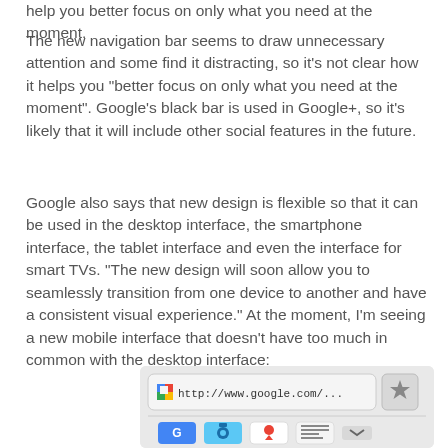help you better focus on only what you need at the moment.
The new navigation bar seems to draw unnecessary attention and some find it distracting, so it's not clear how it helps you "better focus on only what you need at the moment". Google's black bar is used in Google+, so it's likely that it will include other social features in the future.
Google also says that new design is flexible so that it can be used in the desktop interface, the smartphone interface, the tablet interface and even the interface for smart TVs. "The new design will soon allow you to seamlessly transition from one device to another and have a consistent visual experience." At the moment, I'm seeing a new mobile interface that doesn't have too much in common with the desktop interface:
[Figure (screenshot): Screenshot of a mobile browser showing http://www.google.com/ in the address bar, with a Google favicon, a star/bookmark button, and a row of app icons (Google Search, Camera, Maps, News, and a more button) at the bottom.]